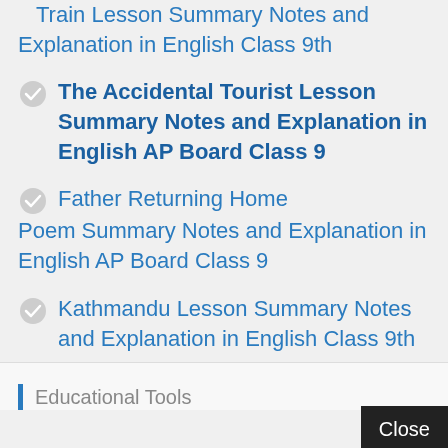Train Lesson Summary Notes and Explanation in English Class 9th
The Accidental Tourist Lesson Summary Notes and Explanation in English AP Board Class 9
Father Returning Home Poem Summary Notes and Explanation in English AP Board Class 9
Kathmandu Lesson Summary Notes and Explanation in English Class 9th
Educational Tools